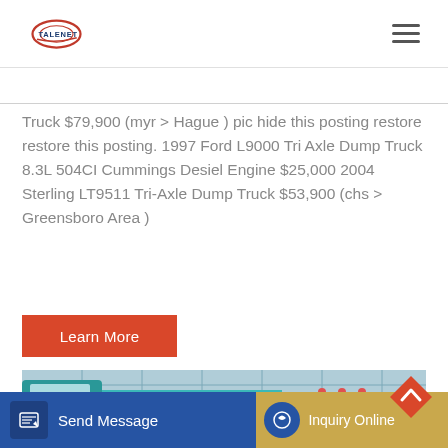TALENET
Truck $79,900 (myr > Hague ) pic hide this posting restore restore this posting. 1997 Ford L9000 Tri Axle Dump Truck 8.3L 504CI Cummings Desiel Engine $25,000 2004 Sterling LT9511 Tri-Axle Dump Truck $53,900 (chs > Greensboro Area )
[Figure (other): Orange/red 'Learn More' button]
[Figure (photo): Photo of a teal/turquoise dump truck in front of a glass building facade]
[Figure (other): Bottom navigation bar with 'Send Message' (blue) and 'Inquiry Online' (gold) buttons, and an orange diamond up-arrow scroll button]